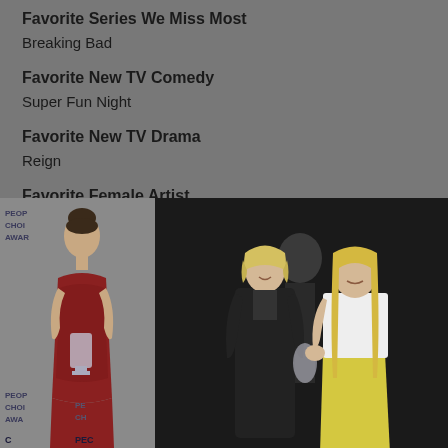Favorite Series We Miss Most
Breaking Bad
Favorite New TV Comedy
Super Fun Night
Favorite New TV Drama
Reign
Favorite Female Artist
Demi Lovato
[Figure (photo): Two photos side by side: left photo shows a woman in a red lace dress holding a People's Choice Award trophy in front of People's Choice Awards backdrop; right photo shows two women (one with short blonde hair in black outfit, one with long blonde hair in white top and yellow skirt) at what appears to be the People's Choice Awards event.]